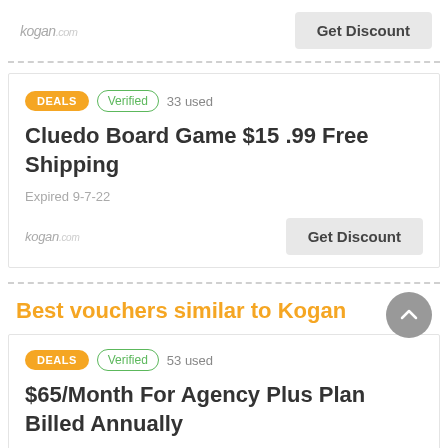[Figure (logo): kogan.com logo]
Get Discount
DEALS  Verified  33 used
Cluedo Board Game $15 .99 Free Shipping
Expired 9-7-22
[Figure (logo): kogan.com logo]
Get Discount
Best vouchers similar to Kogan
DEALS  Verified  53 used
$65/Month For Agency Plus Plan Billed Annually